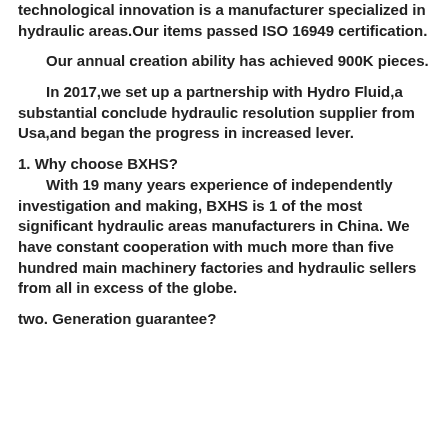technological innovation is a manufacturer specialized in hydraulic areas.Our items passed ISO 16949 certification.
Our annual creation ability has achieved 900K pieces.
In 2017,we set up a partnership with Hydro Fluid,a substantial conclude hydraulic resolution supplier from Usa,and began the progress in increased lever.
1. Why choose BXHS?
    With 19 many years experience of independently investigation and making, BXHS is 1 of the most significant hydraulic areas manufacturers in China. We have constant cooperation with much more than five hundred main machinery factories and hydraulic sellers from all in excess of the globe.
two. Generation guarantee?